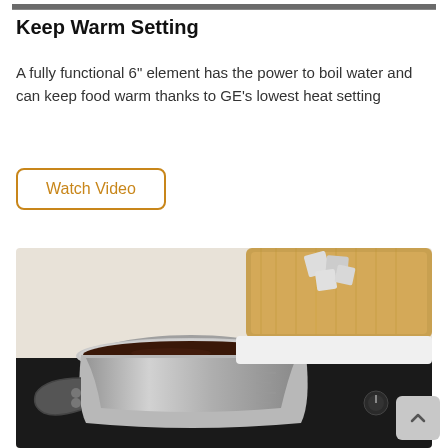[Figure (photo): Partial view of an image at the top of the page, showing a dark surface, appears to be a cropped top portion of a stovetop or appliance photo.]
Keep Warm Setting
A fully functional 6" element has the power to boil water and can keep food warm thanks to GE's lowest heat setting
Watch Video
[Figure (photo): A stainless steel pot with dark liquid (appears to be melted chocolate or sauce) sitting on a black electric stovetop. In the background is a wooden cutting board with sugar cubes or marshmallows.]